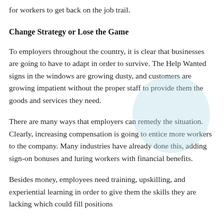for workers to get back on the job trail.
Change Strategy or Lose the Game
To employers throughout the country, it is clear that businesses are going to have to adapt in order to survive. The Help Wanted signs in the windows are growing dusty, and customers are growing impatient without the proper staff to provide them the goods and services they need.
There are many ways that employers can remedy the situation. Clearly, increasing compensation is going to entice more workers to the company. Many industries have already done this, adding sign-on bonuses and luring workers with financial benefits.
Besides money, employees need training, upskilling, and experiential learning in order to give them the skills they are lacking which could fill positions